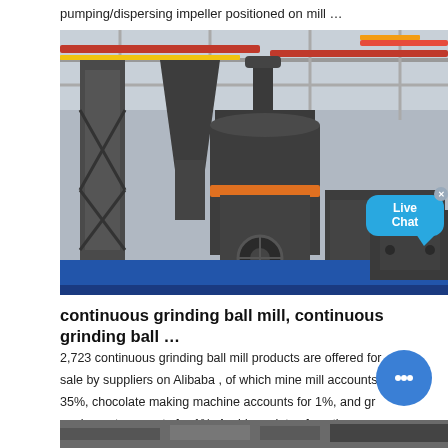pumping/dispersing impeller positioned on mill …
[Figure (photo): Industrial grinding mill machinery inside a large factory warehouse with red and yellow decorative ribbons visible in the background. Dark grey heavy industrial equipment including a vertical mill with conical top and cylindrical components on a blue platform.]
continuous grinding ball mill, continuous grinding ball …
2,723 continuous grinding ball mill products are offered for sale by suppliers on Alibaba , of which mine mill accounts for 35%, chocolate making machine accounts for 1%, and gr equipment accounts for 1%. A wide variety of continuou grinding ball …